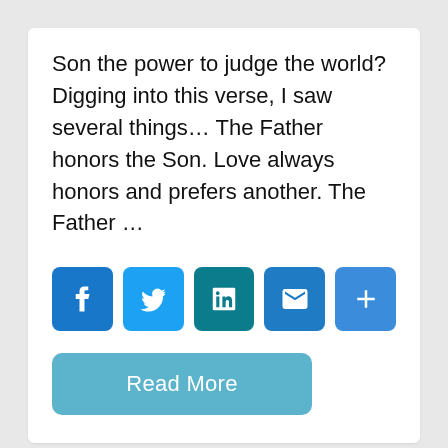Son the power to judge the world? Digging into this verse, I saw several things… The Father honors the Son. Love always honors and prefers another. The Father …
[Figure (infographic): Social media share buttons: Facebook (blue), Twitter (light blue), LinkedIn (teal), Email (blue), and a plus/more button (blue)]
Read More
[Figure (photo): Grass lawn with a light-colored path running diagonally]